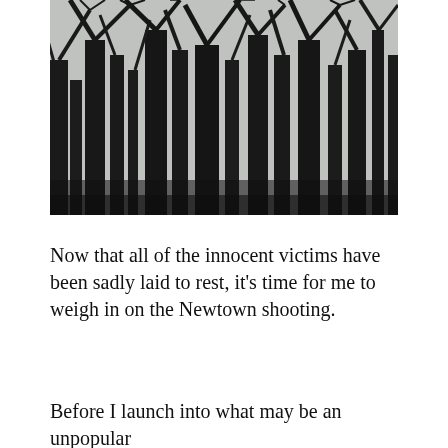[Figure (photo): Black and white photograph of bare winter trees with dark trunks and branches against a pale grey sky. The trees are leafless, creating an intricate network of dark branches.]
Now that all of the innocent victims have been sadly laid to rest, it's time for me to weigh in on the Newtown shooting.
Before I launch into what may be an unpopular